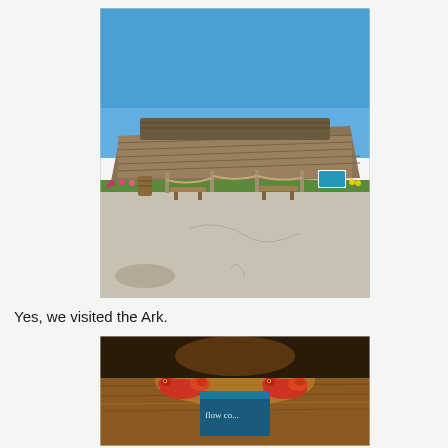[Figure (photo): Outdoor photograph of a large wooden ark structure (replica of Noah's Ark) under a clear blue sky, with a paved courtyard, benches, fence posts with rope, flowers, and greenery in front. A photographer's shadow visible in lower left.]
Yes, we visited the Ark.
[Figure (photo): Close-up interior photo showing what appears to be a wooden table or ledge, warmly lit, with small animal figurines (possibly a red dinosaur or creature) and a book or sign partially visible with text beginning 'flow...' or similar.]